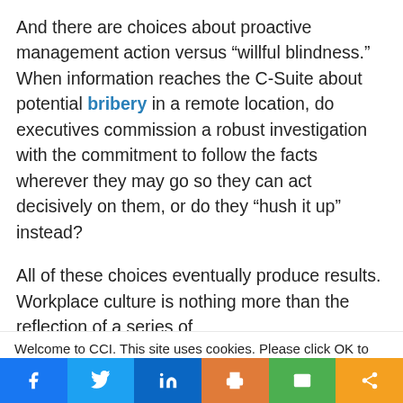And there are choices about proactive management action versus “willful blindness.” When information reaches the C-Suite about potential bribery in a remote location, do executives commission a robust investigation with the commitment to follow the facts wherever they may go so they can act decisively on them, or do they “hush it up” instead?
All of these choices eventually produce results.  Workplace culture is nothing more than the reflection of a series of
Welcome to CCI. This site uses cookies. Please click OK to accept. Privacy Policy
Cookie settings  ACCEPT